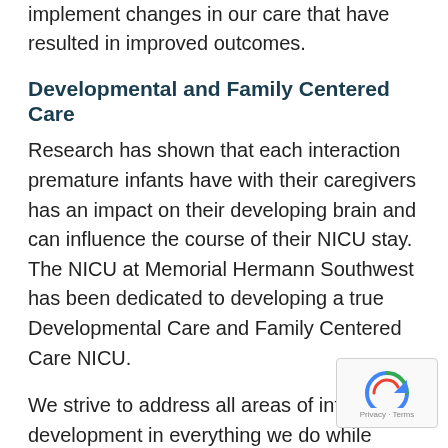implement changes in our care that have resulted in improved outcomes.
Developmental and Family Centered Care
Research has shown that each interaction premature infants have with their caregivers has an impact on their developing brain and can influence the course of their NICU stay. The NICU at Memorial Hermann Southwest has been dedicated to developing a true Developmental Care and Family Centered Care NICU.
We strive to address all areas of infant development in everything we do while keeping the family at the center of our care
[Figure (logo): reCAPTCHA badge with circular arrow icon and Privacy · Terms text]